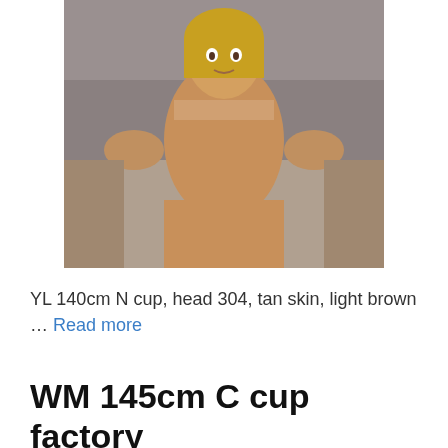[Figure (photo): Photo of a doll in a factory setting, blonde hair, tan skin, with other doll parts visible in background]
YL 140cm N cup, head 304, tan skin, light brown … Read more
WM 145cm C cup factory pictures
[Figure (photo): Photo of a doll with purple hair and glasses, partial view from top]